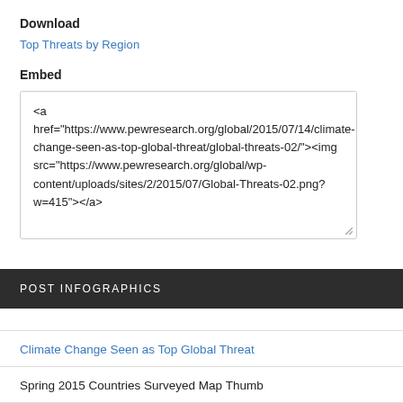Download
Top Threats by Region
Embed
<a href="https://www.pewresearch.org/global/2015/07/14/climate-change-seen-as-top-global-threat/global-threats-02/"><img src="https://www.pewresearch.org/global/wp-content/uploads/sites/2/2015/07/Global-Threats-02.png?w=415"></a>
POST INFOGRAPHICS
Climate Change Seen as Top Global Threat
Spring 2015 Countries Surveyed Map Thumb